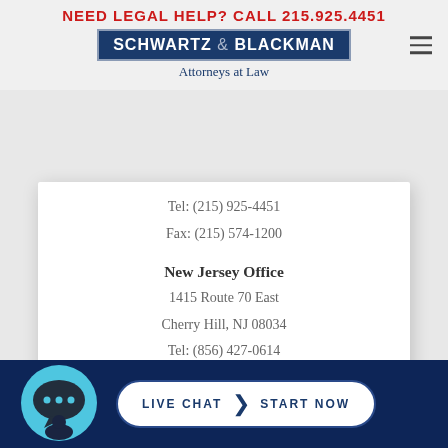NEED LEGAL HELP? CALL 215.925.4451
[Figure (logo): Schwartz & Blackman Attorneys at Law logo with dark blue background and hamburger menu icon]
Tel: (215) 925-4451
Fax: (215) 574-1200
New Jersey Office
1415 Route 70 East
Cherry Hill, NJ 08034
Tel: (856) 427-0614
Fax: (856) 424-3690
LIVE CHAT | START NOW